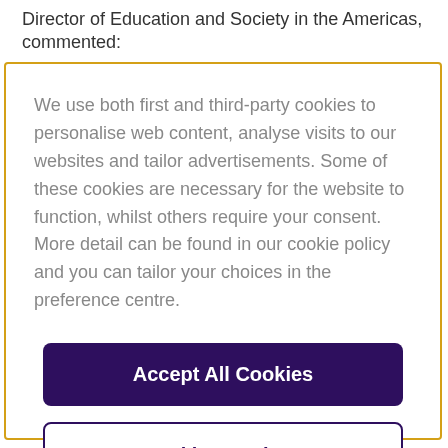Director of Education and Society in the Americas, commented:
We use both first and third-party cookies to personalise web content, analyse visits to our websites and tailor advertisements. Some of these cookies are necessary for the website to function, whilst others require your consent. More detail can be found in our cookie policy and you can tailor your choices in the preference centre.
Accept All Cookies
Cookies Settings